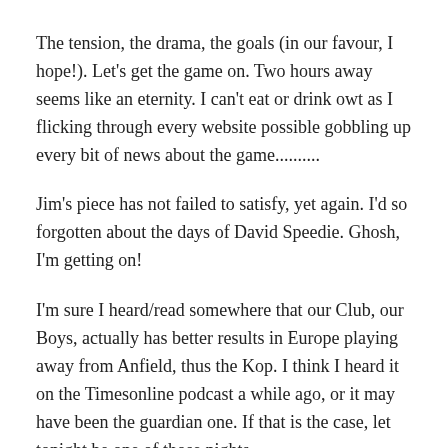The tension, the drama, the goals (in our favour, I hope!). Let's get the game on. Two hours away seems like an eternity. I can't eat or drink owt as I flicking through every website possible gobbling up every bit of news about the game..........
Jim's piece has not failed to satisfy, yet again. I'd so forgotten about the days of David Speedie. Ghosh, I'm getting on!
I'm sure I heard/read somewhere that our Club, our Boys, actually has better results in Europe playing away from Anfield, thus the Kop. I think I heard it on the Timesonline podcast a while ago, or it may have been the guardian one. If that is the case, let tonight be one of those nights.
Agger, Garcia, Reina, Heroes of Chelsea fixtures